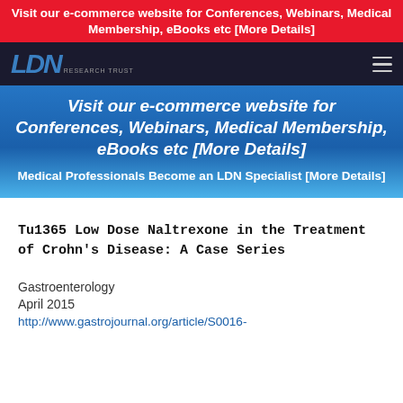Visit our e-commerce website for Conferences, Webinars, Medical Membership, eBooks etc [More Details]
[Figure (logo): LDN Research Trust logo with dark navigation bar and hamburger menu]
Visit our e-commerce website for Conferences, Webinars, Medical Membership, eBooks etc [More Details]
Medical Professionals Become an LDN Specialist [More Details]
Tu1365 Low Dose Naltrexone in the Treatment of Crohn's Disease: A Case Series
Gastroenterology
April 2015
http://www.gastrojournal.org/article/S0016-